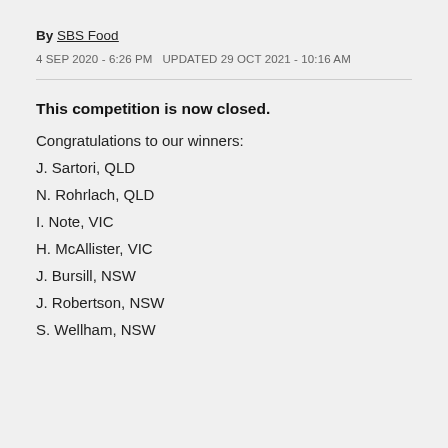By SBS Food
4 SEP 2020 - 6:26 PM  UPDATED 29 OCT 2021 - 10:16 AM
This competition is now closed.
Congratulations to our winners:
J. Sartori, QLD
N. Rohrlach, QLD
I. Note, VIC
H. McAllister, VIC
J. Bursill, NSW
J. Robertson, NSW
S. Wellham, NSW